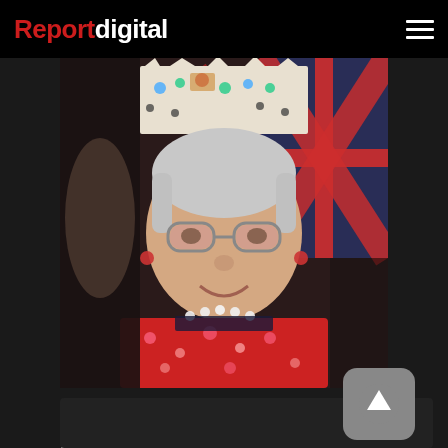Reportdigital
[Figure (photo): Woman dressed as Queen Elizabeth wearing decorative crown/tiara, red floral outfit, glasses, pearl necklace, smiling; UK Union Jack flags visible in background. Jubilee street party celebration.]
Celebrating Queen Elizabeth Platinum Jubilee Street Party, Swanage, Dorset, Lower High Street. Celebrating with an afternoon tea party. by David Mansell 03-06-2022
[Figure (other): Dark panel section at bottom of page with an up-arrow scroll button in bottom right corner]